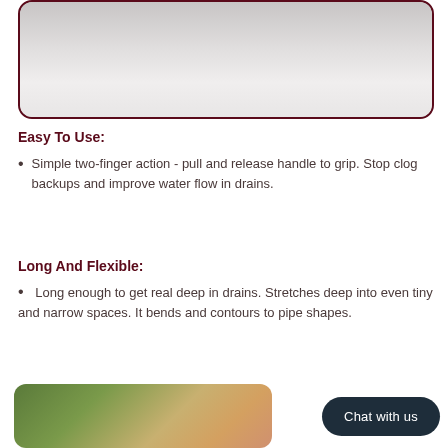[Figure (photo): Top portion of a product photo showing a white/light gray object against a light background, inside a rounded rectangle with dark maroon border.]
Easy To Use:
Simple two-finger action - pull and release handle to grip. Stop clog backups and improve water flow in drains.
Long And Flexible:
Long enough to get real deep in drains. Stretches deep into even tiny and narrow spaces. It bends and contours to pipe shapes.
[Figure (photo): Bottom partial photo showing a person outdoors with green foliage background.]